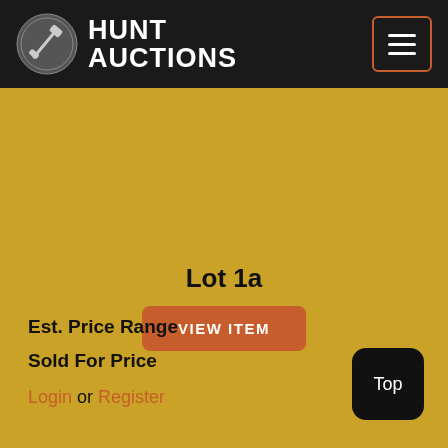Hunt Auctions
Lot 1a
VIEW ITEM
Est. Price Range
Sold For Price
Login or Register
Top